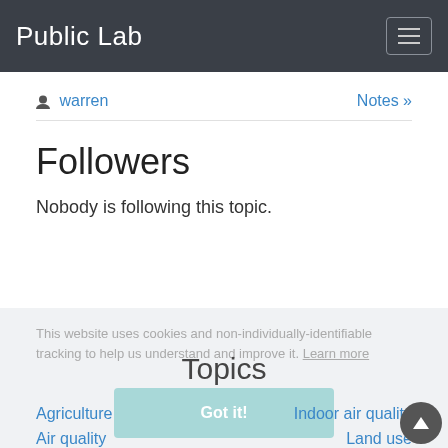Public Lab
warren   Notes »
Followers
Nobody is following this topic.
This website uses cookies and non-individually-identifiable tracking to help us understand and improve it. Learn more
Topics
Got it!
Agriculture
Indoor air quality
Air quality
Land use